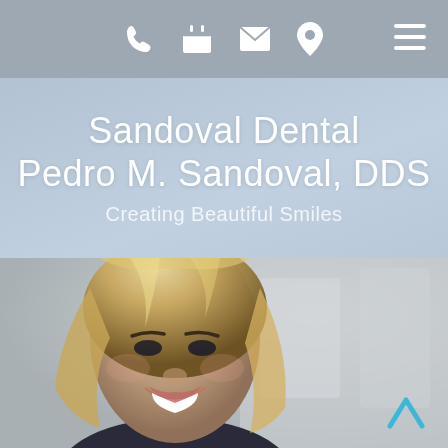Navigation bar with phone, calendar, email, location icons and hamburger menu
Sandoval Dental
Pedro M. Sandoval, DDS
Creating Beautiful Smiles
[Figure (photo): Smiling blonde woman with bright white teeth, dental practice hero image]